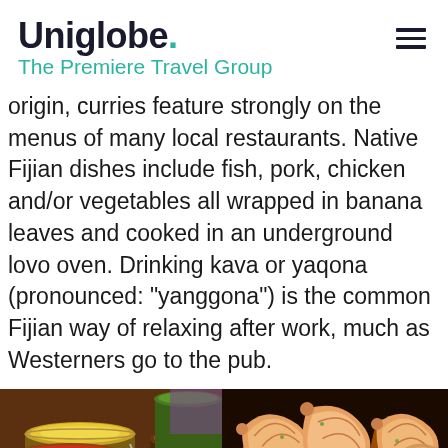Uniglobe. The Premiere Travel Group
origin, curries feature strongly on the menus of many local restaurants. Native Fijian dishes include fish, pork, chicken and/or vegetables all wrapped in banana leaves and cooked in an underground lovo oven. Drinking kava or yaqona (pronounced: "yanggona") is the common Fijian way of relaxing after work, much as Westerners go to the pub.
[Figure (photo): Buffet spread of colorful Indian curries and dishes in metal pots/chafing dishes]
[Figure (photo): Grilled shrimp/prawns on a barbecue grill with flames in background]